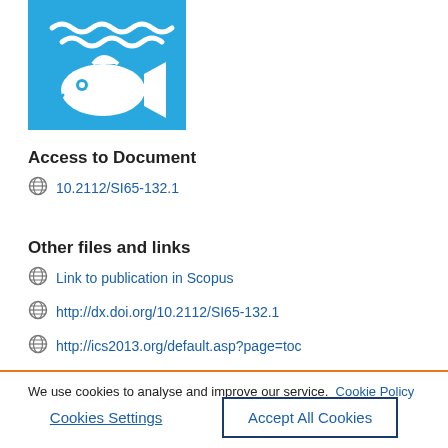[Figure (logo): Blue square logo with a white fish icon and white wave lines above it]
Access to Document
10.2112/SI65-132.1
Other files and links
Link to publication in Scopus
http://dx.doi.org/10.2112/SI65-132.1
http://ics2013.org/default.asp?page=toc
We use cookies to analyse and improve our service.  Cookie Policy
Cookies Settings
Accept All Cookies